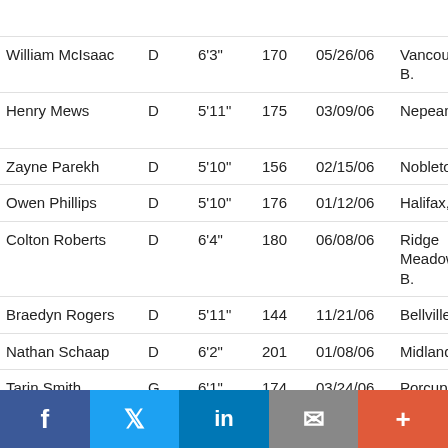| Name | Pos | Ht | Wt | DOB | Hometown | Team |
| --- | --- | --- | --- | --- | --- | --- |
| (C... |  |  |  |  |  | (partial) |
| William McIsaac | D | 6'3" | 170 | 05/26/06 | Vancouver, C.-B. | St... So... |
| Henry Mews | D | 5'11" | 175 | 03/09/06 | Nepean, Ont. | To... Ca... (G... |
| Zayne Parekh | D | 5'10" | 156 | 02/15/06 | Nobleton, Ont. | Ma... (G... |
| Owen Phillips | D | 5'10" | 176 | 01/12/06 | Halifax, N.-É. | Pit... (U... |
| Colton Roberts | D | 6'4" | 180 | 06/08/06 | Ridge Meadows, C.-B. | De... Ac... (C... |
| Braedyn Rogers | D | 5'11" | 144 | 11/21/06 | Bellville, Ont. | Qu... ET... |
| Nathan Schaap | D | 6'2" | 201 | 01/08/06 | Midland, Ont. | No... (O... |
| Tarin Smith | G | 6'1" | 174 | 03/24/06 | Porcupine Plain, Sask. | Sa... Bl... (S... |
f  Twitter  in  email  +